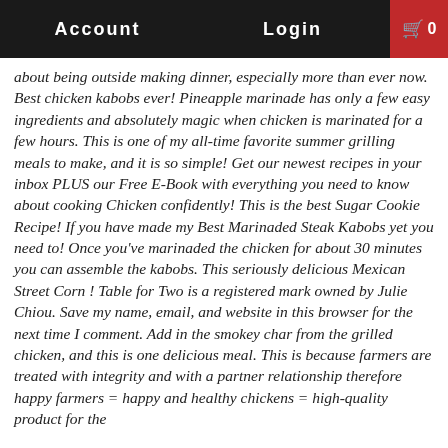Account   Login   🛒 0
about being outside making dinner, especially more than ever now. Best chicken kabobs ever! Pineapple marinade has only a few easy ingredients and absolutely magic when chicken is marinated for a few hours. This is one of my all-time favorite summer grilling meals to make, and it is so simple! Get our newest recipes in your inbox PLUS our Free E-Book with everything you need to know about cooking Chicken confidently! This is the best Sugar Cookie Recipe! If you have made my Best Marinaded Steak Kabobs yet you need to! Once you've marinaded the chicken for about 30 minutes you can assemble the kabobs. This seriously delicious Mexican Street Corn ! Table for Two is a registered mark owned by Julie Chiou. Save my name, email, and website in this browser for the next time I comment. Add in the smokey char from the grilled chicken, and this is one delicious meal. This is because farmers are treated with integrity and with a partner relationship therefore happy farmers = happy and healthy chickens = high-quality product for the